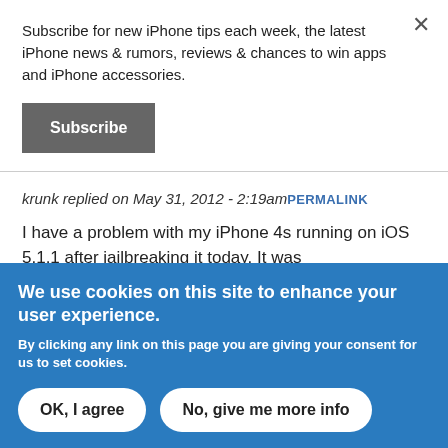Subscribe for new iPhone tips each week, the latest iPhone news & rumors, reviews & chances to win apps and iPhone accessories.
Subscribe
krunk replied on May 31, 2012 - 2:19am PERMALINK
I have a problem with my iPhone 4s running on iOS 5.1.1 after jailbreaking it today. It was
We use cookies on this site to enhance your user experience.
By clicking any link on this page you are giving your consent for us to set cookies.
OK, I agree
No, give me more info